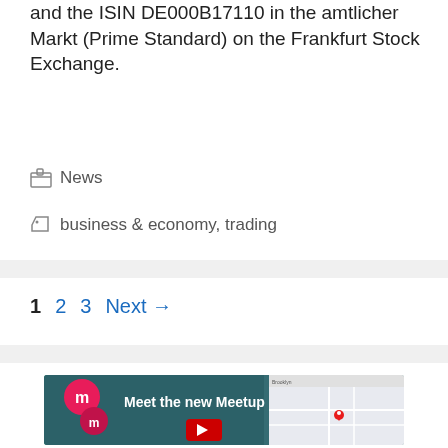and the ISIN DE000B17110 in the amtlicher Markt (Prime Standard) on the Frankfurt Stock Exchange.
Categories: News
Tags: business & economy, trading
1  2  3  Next →
[Figure (screenshot): Video thumbnail for 'Meet the new Meetup' showing the Meetup logo (red M circles), a person smiling, and a phone mockup with a map interface, with a red YouTube play button.]